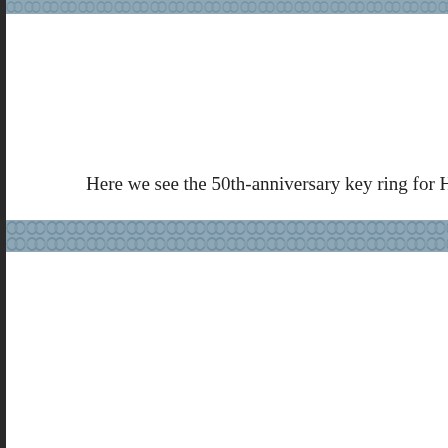[Figure (photo): Blurred/redacted image strip at the top of the page showing a chain or key ring pattern]
Here we see the 50th-anniversary key ring for Hale County
[Figure (photo): Blurred/redacted image strip showing a chain or key ring pattern]